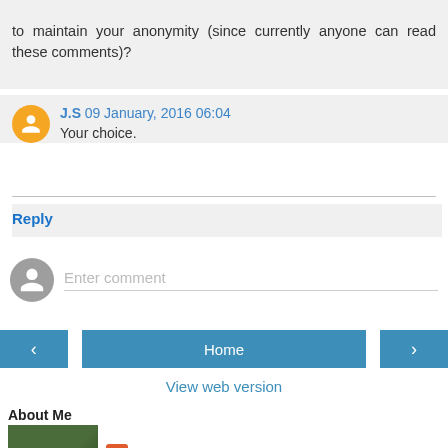to maintain your anonymity (since currently anyone can read these comments)?
J.S 09 January, 2016 06:04
Your choice.
Reply
Enter comment
Home
View web version
About Me
Michael Ray Johnson